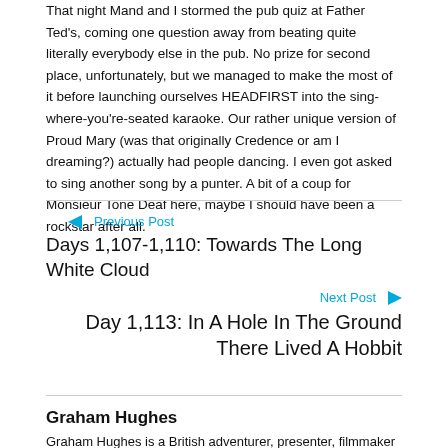That night Mand and I stormed the pub quiz at Father Ted's, coming one question away from beating quite literally everybody else in the pub. No prize for second place, unfortunately, but we managed to make the most of it before launching ourselves HEADFIRST into the sing-where-you're-seated karaoke. Our rather unique version of Proud Mary (was that originally Credence or am I dreaming?) actually had people dancing. I even got asked to sing another song by a punter. A bit of a coup for Monsieur Tone Deaf here, maybe I should have been a rockstar after all.
← Previous Post
Days 1,107-1,110: Towards The Long White Cloud
Next Post →
Day 1,113: In A Hole In The Ground There Lived A Hobbit
Graham Hughes
Graham Hughes is a British adventurer, presenter, filmmaker and